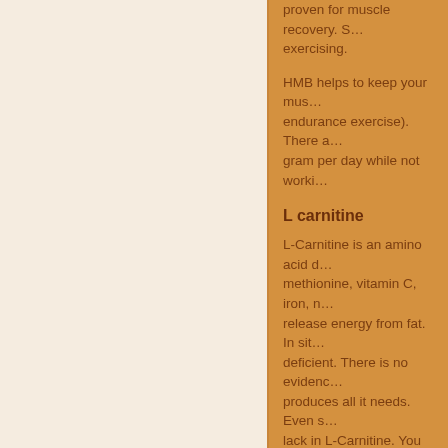proven for muscle recovery. S… exercising.
HMB helps to keep your mus… endurance exercise). There a… gram per day while not worki…
L carnitine
L-Carnitine is an amino acid d… methionine, vitamin C, iron, n… release energy from fat. In sit… deficient. There is no evidenc… produces all it needs. Even s… lack in L-Carnitine. You can b… consuming plenty of protein.
Acetyl-L-Carnitine  is very sim… likely to notice any difference…
Lipotropics in general, are su… (fat disolvers). Besides impro… fat-soluble nutrients and aid t…